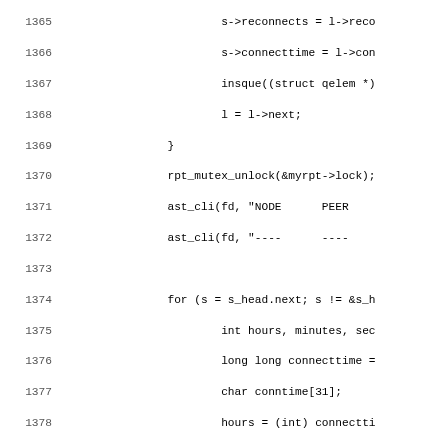[Figure (screenshot): Source code listing showing C code lines 1365-1397, with line numbers on the left and code content on the right, in monospace font. Code includes reconnect/connect time logic, mutex unlock, AST CLI calls, a for loop iterating over s_head, time calculation variables, and a while loop destroying local link queue.]